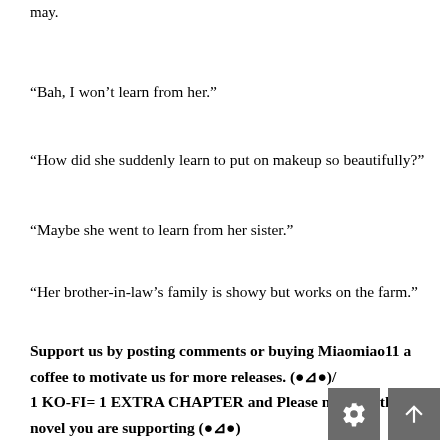“Bah, I won’t learn from her.”
“How did she suddenly learn to put on makeup so beautifully?”
“Maybe she went to learn from her sister.”
“Her brother-in-law’s family is showy but works on the farm.”
Support us by posting comments or buying Miaomiao11 a coffee to motivate us for more releases. (●⊿●)/
1 KO-FI= 1 EXTRA CHAPTER and Please mention the novel you are supporting (●⊿●)